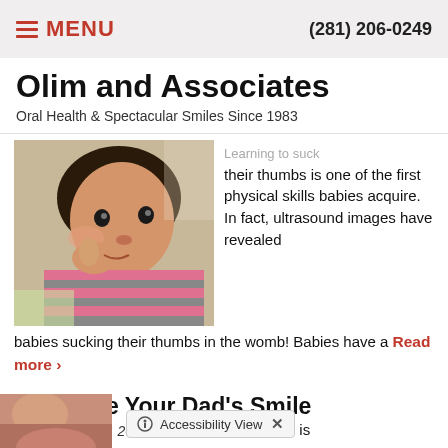≡ MENU   (281) 206-0249
Olim and Associates
Oral Health & Spectacular Smiles Since 1983
[Figure (photo): Young child lying down sucking their thumb, wearing a striped pink and grey shirt]
Learning to suck their thumbs is one of the first physical skills babies acquire. In fact, ultrasound images have revealed babies sucking their thumbs in the womb! Babies have a Read more >
Celebrate Your Dad's Smile
posted: Jun. 14, 2022.
[Figure (photo): Partial view of person at bottom of page, next to Accessibility View widget]